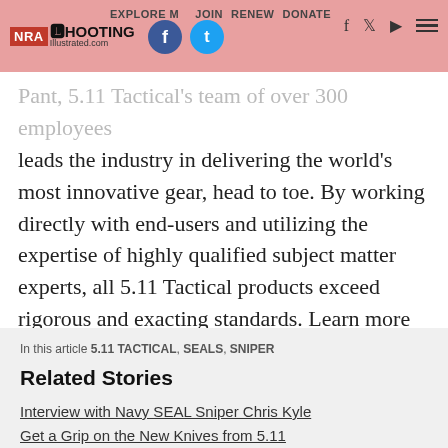NRA Shooting Illustrated | EXPLORE | JOIN | RENEW | DONATE
Pant, 5.11 Tactical's team of over 300 employees leads the industry in delivering the world's most innovative gear, head to toe. By working directly with end-users and utilizing the expertise of highly qualified subject matter experts, all 5.11 Tactical products exceed rigorous and exacting standards. Learn more about 5.11 Tactical's best-selling tactical clothing, uniforms, station-wear, outerwear, footwear and accessories at www.511tactical.com.
In this article 5.11 TACTICAL, SEALS, SNIPER
Related Stories
Interview with Navy SEAL Sniper Chris Kyle
Get a Grip on the New Knives from 5.11